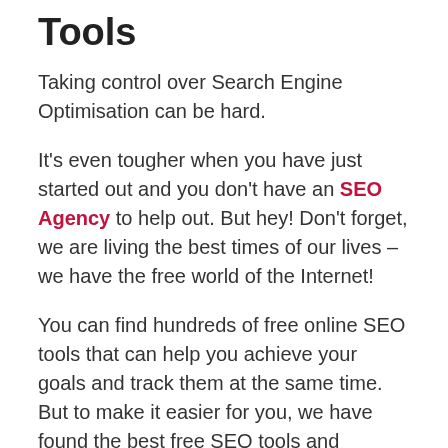Tools
Taking control over Search Engine Optimisation can be hard.
It’s even tougher when you have just started out and you don’t have an SEO Agency to help out. But hey! Don’t forget, we are living the best times of our lives – we have the free world of the Internet!
You can find hundreds of free online SEO tools that can help you achieve your goals and track them at the same time. But to make it easier for you, we have found the best free SEO tools and